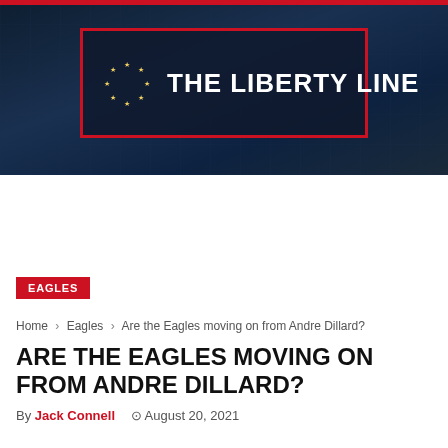THE LIBERTY LINE
RECENT UPDATES  Phillies top pros_
EAGLES
Home › Eagles › Are the Eagles moving on from Andre Dillard?
ARE THE EAGLES MOVING ON FROM ANDRE DILLARD?
By Jack Connell  August 20, 2021